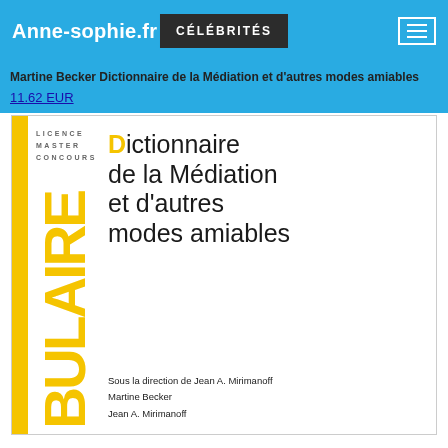Anne-sophie.fr | CÉLÉBRITÉS
Martine Becker Dictionnaire de la Médiation et d'autres modes amiables
11.62 EUR
[Figure (illustration): Book cover of 'Dictionnaire de la Médiation et d'autres modes amiables' with yellow vertical strip and vertical text 'BULAIRE', series label 'LICENCE MASTER CONCOURS', large title text, and authors: Sous la direction de Jean A. Mirimanoff, Martine Becker, Jean A. Mirimanoff]